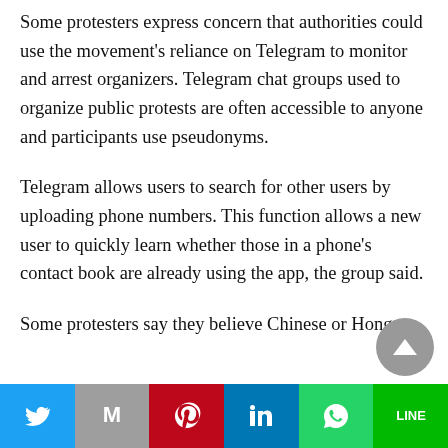Some protesters express concern that authorities could use the movement's reliance on Telegram to monitor and arrest organizers. Telegram chat groups used to organize public protests are often accessible to anyone and participants use pseudonyms.
Telegram allows users to search for other users by uploading phone numbers. This function allows a new user to quickly learn whether those in a phone's contact book are already using the app, the group said.
Some protesters say they believe Chinese or Hong
[Figure (other): Social media share bar at the bottom with Twitter (blue), Mail (grey), Pinterest (red), LinkedIn (blue), WhatsApp (teal), and LINE (green) buttons]